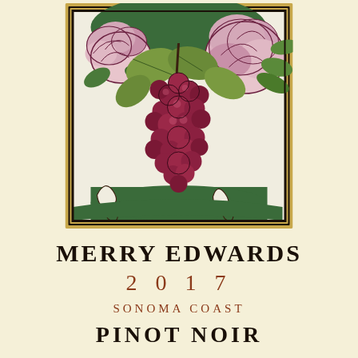[Figure (illustration): Art nouveau style illustration in a square frame with dark gold/brown border. Features a large cluster of dark red/purple grapes hanging from a vine with green leaves. Pink roses appear in the upper left and upper right corners. The background is white with decorative scroll work at the bottom. The overall style is a woodcut or linocut print aesthetic with flat colors and bold outlines.]
MERRY EDWARDS
2 0 1 7
SONOMA COAST
PINOT NOIR